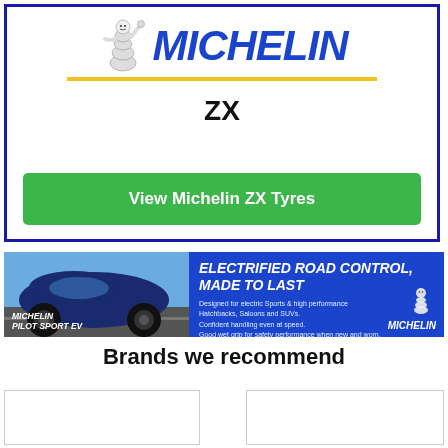[Figure (logo): Michelin brand card with Bibendum mascot, MICHELIN text in blue italic, yellow underline, and ZX product name below]
ZX
View Michelin ZX Tyres
[Figure (illustration): Michelin Pilot Sport EV advertisement banner. Blue background with electric car image on left. Headline: ELECTRIFIED ROAD CONTROL, MADE TO LAST. Bullet points about electric Sports & high performance Hatchbacks, Saloons and SUVs. Confident handling even at speed. Good wet grip for safety performance when new and worn. Michelin Pilot Sport EV branding bottom-left. Bibendum and MICHELIN logo bottom-right.]
Brands we recommend